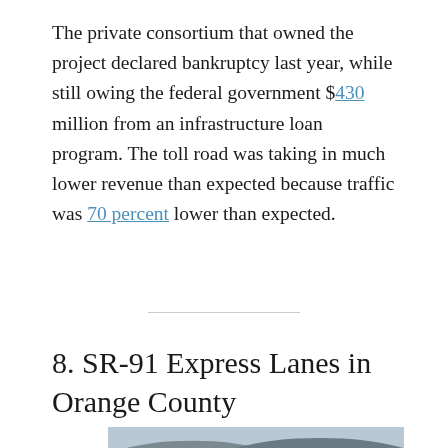The private consortium that owned the project declared bankruptcy last year, while still owing the federal government $430 million from an infrastructure loan program. The toll road was taking in much lower revenue than expected because traffic was 70 percent lower than expected.
8. SR-91 Express Lanes in Orange County
[Figure (photo): Black and white / dark blue toned photograph of a freeway (SR-91 Express Lanes) with hills and landscape in the background, showing multiple lanes of road winding through a hilly area.]